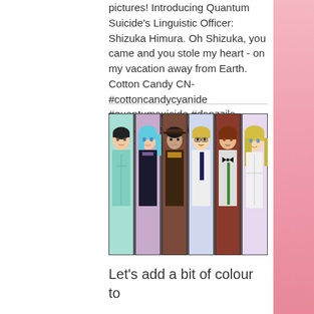pictures! Introducing Quantum Suicide's Linguistic Officer: Shizuka Himura. Oh Shizuka, you came and you stole my heart - on my vacation away from Earth. Cotton Candy CN- #cottoncandycyanide #quantumsuicide #danzzila #bestartever #shizuka #characterprofile
[Figure (illustration): Six anime-style character portrait panels side by side, each character in a vertical banner: 1) Dark-haired male in teal outfit, 2) Blue-haired girl in dark uniform, 3) Dark-haired female in brown/gold uniform with hat, 4) Blonde male with glasses in white shirt and dark tie, 5) Red-brown haired character with bow tie, 6) Blonde female in white outfit]
Let's add a bit of colour to